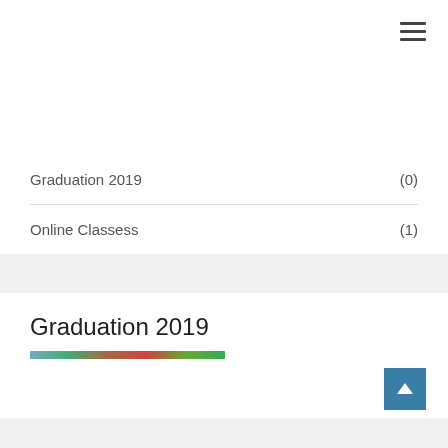Graduation 2019    (0)
Online Classess    (1)
Graduation 2019
[Figure (photo): Thumbnail image strip showing graduation scene, partially visible as a narrow horizontal band]